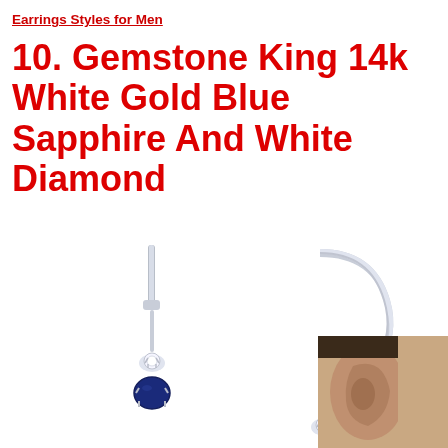Earrings Styles for Men
10. Gemstone King 14k White Gold Blue Sapphire And White Diamond
[Figure (photo): Two white gold lever-back drop earrings featuring blue sapphire and white diamond gemstones, shown against a white background. A small inset photo of a human ear is visible in the bottom-right corner.]